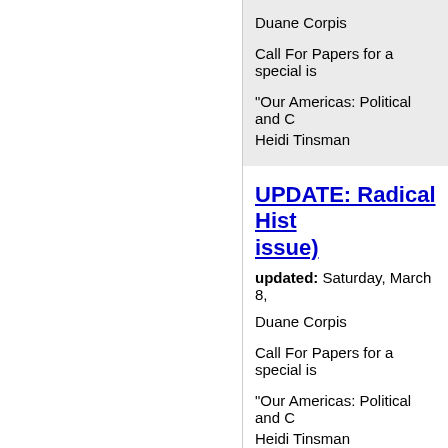Duane Corpis
Call For Papers for a special is
"Our Americas: Political and C
Heidi Tinsman
UPDATE: Radical Hist issue)
updated: Saturday, March 8,
Duane Corpis
Call For Papers for a special is
"Our Americas: Political and C
Heidi Tinsman